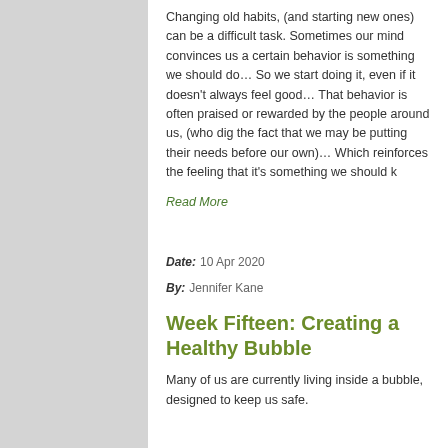Changing old habits, (and starting new ones) can be a difficult task. Sometimes our mind convinces us a certain behavior is something we should do… So we start doing it, even if it doesn't always feel good… That behavior is often praised or rewarded by the people around us, (who dig the fact that we may be putting their needs before our own)… Which reinforces the feeling that it's something we should k
Read More
Date:  10 Apr 2020
By:  Jennifer Kane
Week Fifteen: Creating a Healthy Bubble
Many of us are currently living inside a bubble, designed to keep us safe.